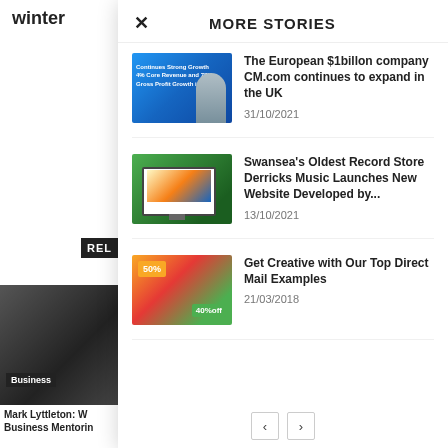winter
MORE STORIES
[Figure (photo): Blue promotional banner with person holding phone, text about company growth]
The European $1billon company CM.com continues to expand in the UK
31/10/2021
[Figure (photo): iMac computer showing a website for Derricks Music store]
Swansea's Oldest Record Store Derricks Music Launches New Website Developed by...
13/10/2021
[Figure (photo): Promotional flyers and mailers showing 50% and 40% off offers]
Get Creative with Our Top Direct Mail Examples
21/03/2018
REL
Business
Mark Lyttleton: W Business Mentorin